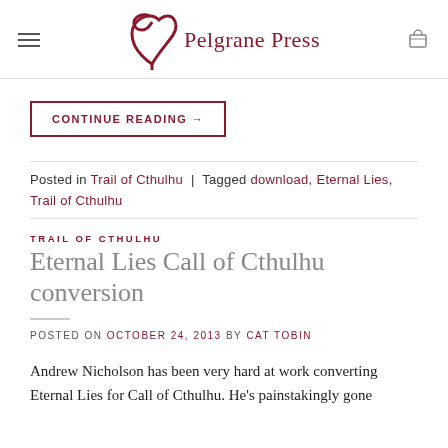Pelgrane Press
CONTINUE READING →
Posted in Trail of Cthulhu | Tagged download, Eternal Lies, Trail of Cthulhu
TRAIL OF CTHULHU
Eternal Lies Call of Cthulhu conversion
POSTED ON OCTOBER 24, 2013 BY CAT TOBIN
Andrew Nicholson has been very hard at work converting Eternal Lies for Call of Cthulhu. He's painstakingly gone